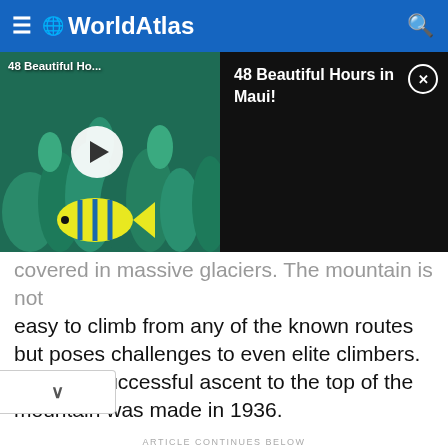WorldAtlas
[Figure (screenshot): Video thumbnail showing '48 Beautiful Ho...' with coral reef and tropical fish background, white play button circle in center]
[Figure (screenshot): Black ad panel showing '48 Beautiful Hours in Maui!' with close (X) button]
covered in massive glaciers. The mountain is not easy to climb from any of the known routes but poses challenges to even elite climbers. The first successful ascent to the top of the mountain was made in 1936.
ARTICLE CONTINUES BELOW